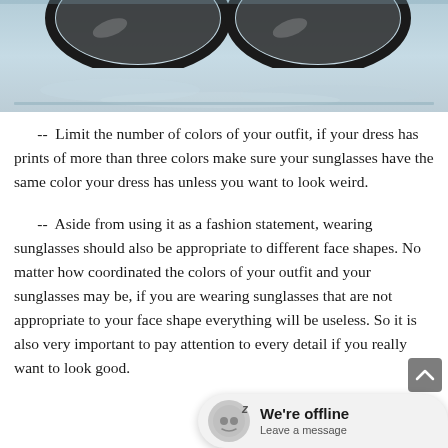[Figure (photo): Partial photo showing two pairs of sunglasses resting on a light blue/grey surface, only the lower portions visible at top of page]
-- Limit the number of colors of your outfit, if your dress has prints of more than three colors make sure your sunglasses have the same color your dress has unless you want to look weird.
-- Aside from using it as a fashion statement, wearing sunglasses should also be appropriate to different face shapes. No matter how coordinated the colors of your outfit and your sunglasses may be, if you are wearing sunglasses that are not appropriate to your face shape everything will be useless. So it is also very important to pay attention to every detail if you really want to look good.